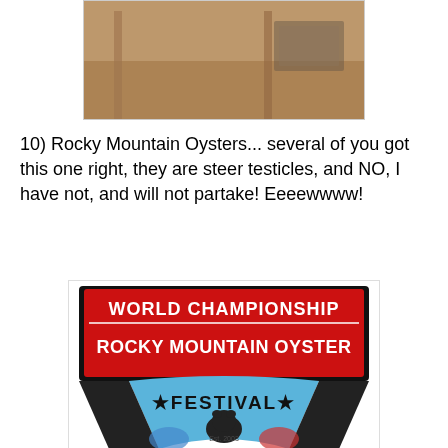[Figure (photo): Partial photo of wooden/metal structure, cropped at top]
10) Rocky Mountain Oysters... several of you got this one right, they are steer testicles, and NO, I have not, and will not partake! Eeeewwww!
[Figure (logo): World Championship Rocky Mountain Oyster Festival logo with red/black banner, blue fan shape, bull silhouette, Est. 2003, boxing gloves]